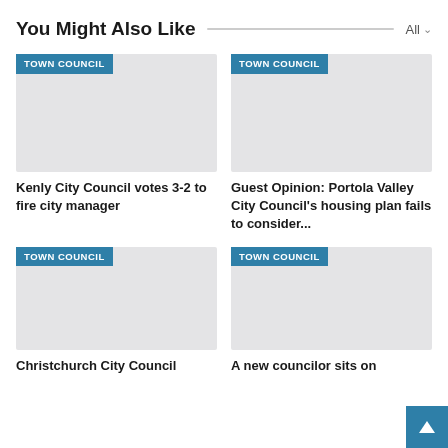You Might Also Like
[Figure (screenshot): Gray placeholder image with TOWN COUNCIL tag for article: Kenly City Council votes 3-2 to fire city manager]
Kenly City Council votes 3-2 to fire city manager
[Figure (screenshot): Gray placeholder image with TOWN COUNCIL tag for article: Guest Opinion: Portola Valley City Council's housing plan fails to consider...]
Guest Opinion: Portola Valley City Council's housing plan fails to consider...
[Figure (screenshot): Gray placeholder image with TOWN COUNCIL tag for article: Christchurch City Council]
Christchurch City Council
[Figure (screenshot): Gray placeholder image with TOWN COUNCIL tag for article: A new councilor sits on]
A new councilor sits on